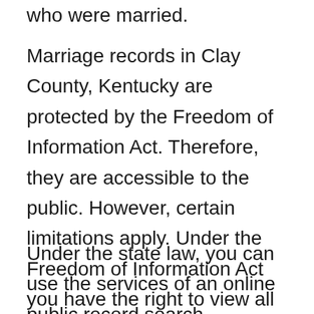who were married.
Marriage records in Clay County, Kentucky are protected by the Freedom of Information Act. Therefore, they are accessible to the public. However, certain limitations apply. Under the Freedom of Information Act you have the right to view all records if you have a legitimate reason for doing so.
Under the state law, you can use the services of an online public record search directory. Such a site can help you get a complete history on